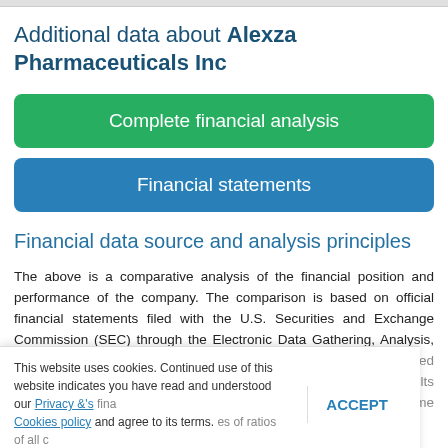Additional data about Alexza Pharmaceuticals Inc
Complete financial analysis
Financial statements
Financial data source and analysis principles
The above is a comparative analysis of the financial position and performance of the company. The comparison is based on official financial statements filed with the U.S. Securities and Exchange Commission (SEC) through the Electronic Data Gathering, Analysis, and Retrieval system (EDGAR) (about 10,000 largest publicly traded companies, including the company's financial statements, compare with the results of analyses of ratios of all companies within the same industry, and also with the quartiles of companies within the same industry, and also with the quartiles of
This website uses cookies. Continued use of this website indicates you have read and understood our Privacy & Cookies policy and agree to its terms. ACCEPT